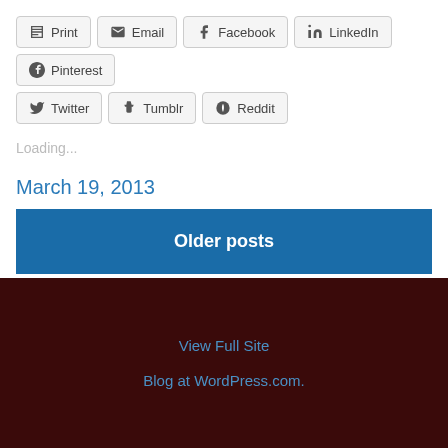Print
Email
Facebook
LinkedIn
Pinterest
Twitter
Tumblr
Reddit
Loading...
March 19, 2013
Older posts
View Full Site
Blog at WordPress.com.